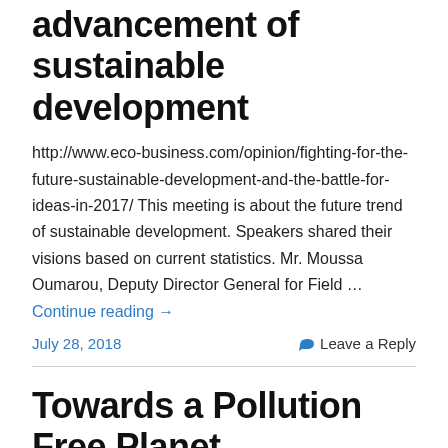advancement of sustainable development
http://www.eco-business.com/opinion/fighting-for-the-future-sustainable-development-and-the-battle-for-ideas-in-2017/ This meeting is about the future trend of sustainable development. Speakers shared their visions based on current statistics. Mr. Moussa Oumarou, Deputy Director General for Field … Continue reading →
July 28, 2018   Leave a Reply
Towards a Pollution Free Planet